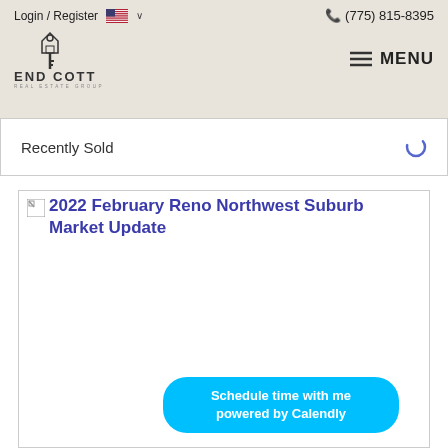Login / Register   🇺🇸 ∨   📞 (775) 815-8395
[Figure (logo): Endicott Real Estate Group logo with house/key icon and text ENDICOTT REAL ESTATE GROUP]
MENU
Recently Sold
[Figure (photo): Broken image placeholder for 2022 February Reno Northwest Suburb Market Update article image]
2022 February Reno Northwest Suburb Market Update
Schedule time with me
powered by Calendly